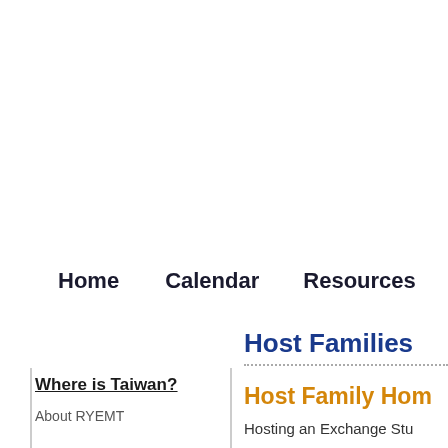Home   Calendar   Resources
Host Families
Host Family Home
Hosting an Exchange Stu
Where is Taiwan?
About RYEMT